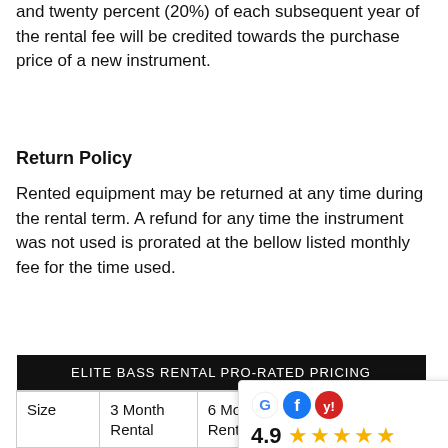and twenty percent (20%) of each subsequent year of the rental fee will be credited towards the purchase price of a new instrument.
Return Policy
Rented equipment may be returned at any time during the rental term. A refund for any time the instrument was not used is prorated at the bellow listed monthly fee for the time used.
| ELITE BASS RENTAL PRO-RATED PRICING |  |  |  |
| --- | --- | --- | --- |
| Size | 3 Month Rental | 6 Month Rental | School Year Rental |
| ALL SIZES | $225/m | $225/ |  |
[Figure (other): Review widget showing Google, Facebook, Yelp icons, 4.9 rating with 5 stars, and a link to 57 reviews]